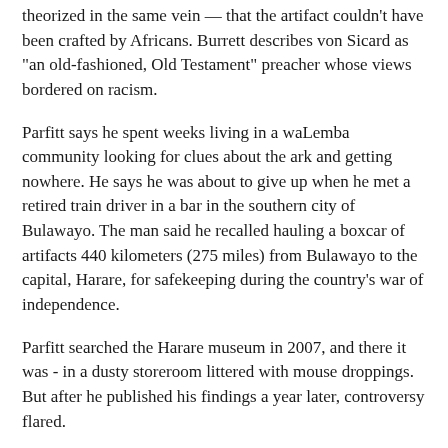theorized in the same vein — that the artifact couldn't have been crafted by Africans. Burrett describes von Sicard as "an old-fashioned, Old Testament" preacher whose views bordered on racism.
Parfitt says he spent weeks living in a waLemba community looking for clues about the ark and getting nowhere. He says he was about to give up when he met a retired train driver in a bar in the southern city of Bulawayo. The man said he recalled hauling a boxcar of artifacts 440 kilometers (275 miles) from Bulawayo to the capital, Harare, for safekeeping during the country's war of independence.
Parfitt searched the Harare museum in 2007, and there it was - in a dusty storeroom littered with mouse droppings. But after he published his findings a year later, controversy flared.
"Some people thought it was all a sinister plot and I was interfering. There was open hostility," he said.
Tempers erupted at a February meeting on the topic at the